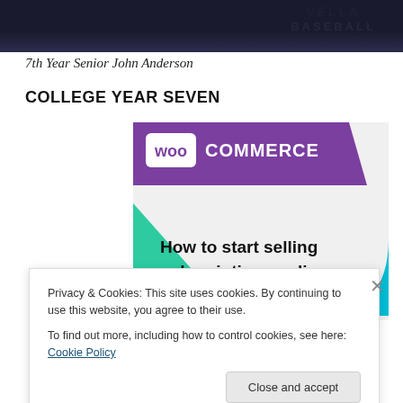[Figure (photo): Dark navy baseball jersey with purple and white text reading 'BASEBALL' on the right chest area, cropped to show only upper portion]
7th Year Senior John Anderson
COLLEGE YEAR SEVEN
[Figure (screenshot): WooCommerce advertisement banner with purple header containing WooCommerce logo, teal triangle shape on left, cyan quarter-circle on right, text reading 'How to start selling subscriptions online' on white background]
Privacy & Cookies: This site uses cookies. By continuing to use this website, you agree to their use.
To find out more, including how to control cookies, see here: Cookie Policy
Close and accept